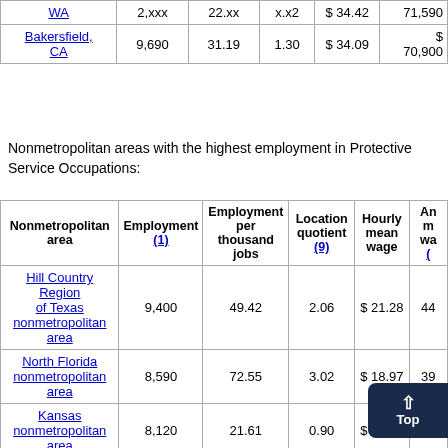|  |  |  |  |  |  |
| --- | --- | --- | --- | --- | --- |
| WA | 2,xxx | 22.xx | x.x2 | $34.42 | 71,590 |
| Bakersfield, CA | 9,690 | 31.19 | 1.30 | $34.09 | $70,900 |
Nonmetropolitan areas with the highest employment in Protective Service Occupations:
| Nonmetropolitan area | Employment (1) | Employment per thousand jobs | Location quotient (9) | Hourly mean wage | Annual mean wage (...) |
| --- | --- | --- | --- | --- | --- |
| Hill Country Region of Texas nonmetropolitan area | 9,400 | 49.42 | 2.06 | $21.28 | 44... |
| North Florida nonmetropolitan area | 8,590 | 72.55 | 3.02 | $18.97 | 39... |
| Kansas nonmetropolitan area | 8,120 | 21.61 | 0.90 | $20.35 | 42... |
| Southeast Coastal North Carolina nonmetropolitan | 7,730 | 32.18 | 1.34 |  | 39... |